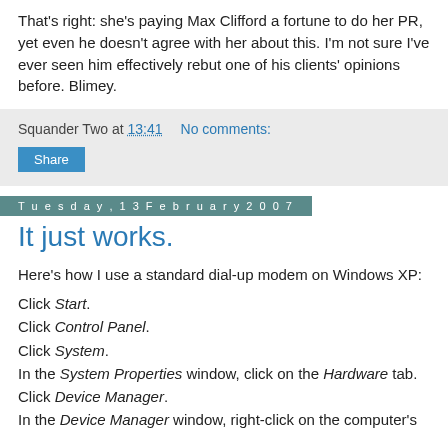That's right: she's paying Max Clifford a fortune to do her PR, yet even he doesn't agree with her about this. I'm not sure I've ever seen him effectively rebut one of his clients' opinions before. Blimey.
Squander Two at 13:41   No comments:
Share
Tuesday, 13 February 2007
It just works.
Here's how I use a standard dial-up modem on Windows XP:
Click Start.
Click Control Panel.
Click System.
In the System Properties window, click on the Hardware tab.
Click Device Manager.
In the Device Manager window, right-click on the computer's